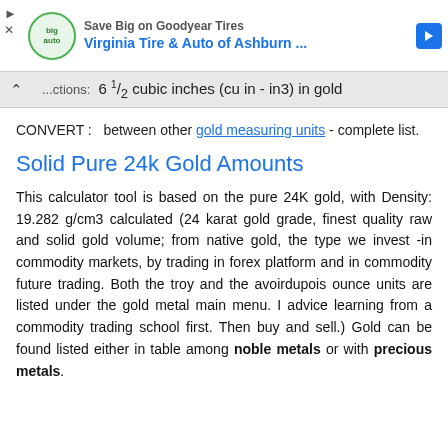[Figure (screenshot): Advertisement banner for Virginia Tire & Auto of Ashburn with logo and blue arrow icon, showing 'Save Big on Goodyear Tires' and navigation controls]
Fractions: 6 1/2 cubic inches (cu in - in3) in gold
CONVERT : between other gold measuring units - complete list.
Solid Pure 24k Gold Amounts
This calculator tool is based on the pure 24K gold, with Density: 19.282 g/cm3 calculated (24 karat gold grade, finest quality raw and solid gold volume; from native gold, the type we invest -in commodity markets, by trading in forex platform and in commodity future trading. Both the troy and the avoirdupois ounce units are listed under the gold metal main menu. I advice learning from a commodity trading school first. Then buy and sell.) Gold can be found listed either in table among noble metals or with precious metals.